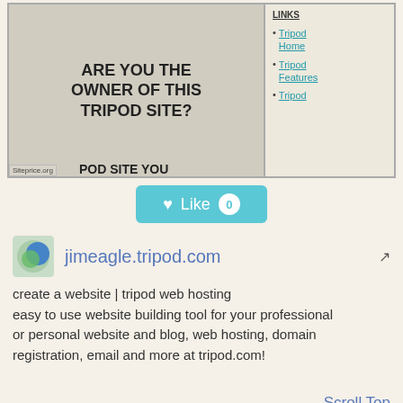[Figure (screenshot): Screenshot of a Tripod website page asking 'Are you the owner of this tripod site?' with a links panel showing Tripod Home, Tripod Features, Tripod links. Siteprice.org watermark visible. Partial text 'POD SITE YOU' at bottom.]
[Figure (other): Like button (teal/cyan background) with heart icon, text 'Like' and count badge showing 0]
[Figure (logo): Favicon/logo icon for jimeagle.tripod.com - blue and green globe icon]
jimeagle.tripod.com
create a website | tripod web hosting easy to use website building tool for your professional or personal website and blog, web hosting, domain registration, email and more at tripod.com!
Scroll Top
Semrush Rank: 28,500,142
Faceb
Website Worth: $ 11,800
Categories: Internet Services, Web Hosting
Is it similar?
Yes 0
No 0